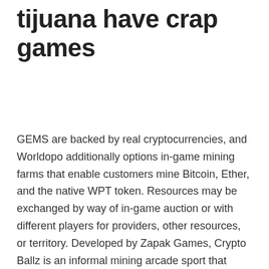tijuana have crap games
GEMS are backed by real cryptocurrencies, and Worldopo additionally options in-game mining farms that enable customers mine Bitcoin, Ether, and the native WPT token. Resources may be exchanged by way of in-game auction or with different players for providers, other resources, or territory. Developed by Zapak Games, Crypto Ballz is an informal mining arcade sport that rewards gamers in Bitcoin and tons of different coins, similar to Litecoin and Ethereum. Players can even watch a Rewarded Video and receive an extra 50 coins to their winnings, do the casinos in tijuana have crap games. The gameplay of this